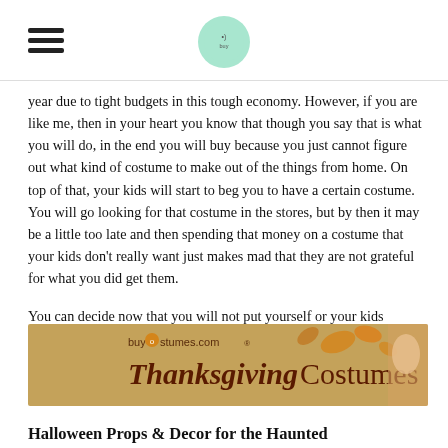[Hamburger menu icon] [Site logo circle]
year due to tight budgets in this tough economy. However, if you are like me, then in your heart you know that though you say that is what you will do, in the end you will buy because you just cannot figure out what kind of costume to make out of the things from home. On top of that, your kids will start to beg you to have a certain costume. You will go looking for that costume in the stores, but by then it may be a little too late and then spending that money on a costume that your kids don't really want just makes mad that they are not grateful for what you did get them.
You can decide now that you will not put yourself or your kids through that and just get the kids Halloween costumes that you know that they want by ordering online.
[Figure (photo): Banner advertisement for buycostumes.com showing Thanksgiving Costumes with autumn leaves and a woman in costume on the right side.]
Halloween Props & Decor for the Haunted